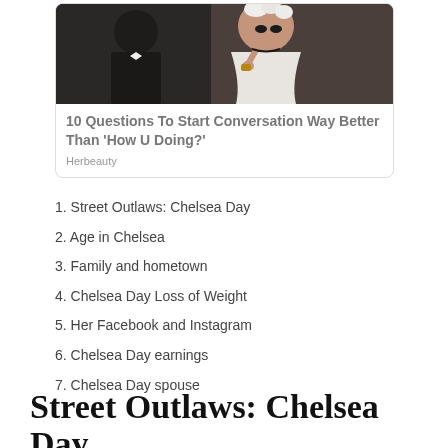[Figure (photo): Wedding photo showing a bride in white dress and flowers eating something, with a groom in a tuxedo beside her]
10 Questions To Start Conversation Way Better Than 'How U Doing?'
Herbeauty
1. Street Outlaws: Chelsea Day
2. Age in Chelsea
3. Family and hometown
4. Chelsea Day Loss of Weight
5. Her Facebook and Instagram
6. Chelsea Day earnings
7. Chelsea Day spouse
Street Outlaws: Chelsea Day